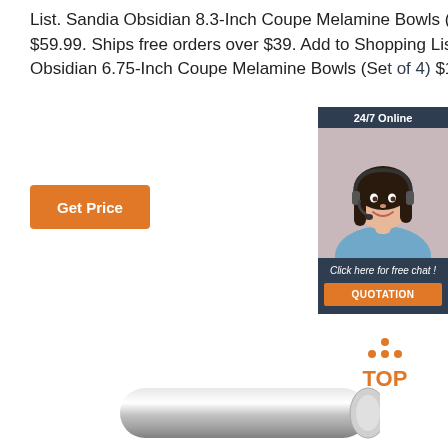List. Sandia Obsidian 8.3-Inch Coupe Melamine Bowls (Set of 6) $59.99. Ships free orders over $39. Add to Shopping List. Sandia Obsidian 6.75-Inch Coupe Melamine Bowls (Set of 4) $107.99.
Get Price
[Figure (photo): Customer service representative widget with '24/7 Online' header, photo of woman with headset, 'Click here for free chat!' text, and orange QUOTATION button]
[Figure (logo): TOP logo with orange dots forming a triangle above the word TOP in orange]
[Figure (photo): Metallic roller or cylinder component, partially visible at bottom of page]